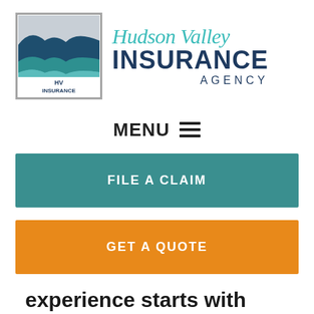[Figure (logo): Hudson Valley Insurance Agency logo: left side shows a square with stylized wave/landscape in teal, dark blue, and light blue colors with 'HV INSURANCE' text below. Right side shows 'Hudson Valley' in teal italic script and 'INSURANCE AGENCY' in dark navy bold sans-serif.]
MENU ☰
FILE A CLAIM
GET A QUOTE
experience starts with